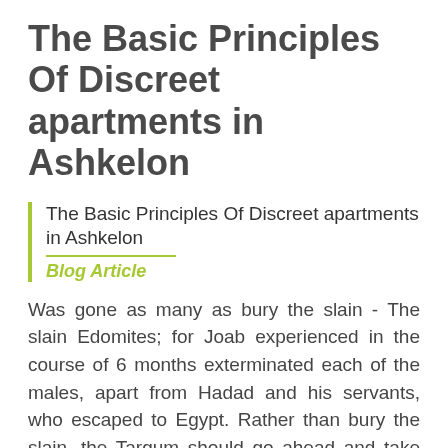The Basic Principles Of Discreet apartments in Ashkelon
The Basic Principles Of Discreet apartments in Ashkelon
Blog Article
Was gone as many as bury the slain - The slain Edomites; for Joab experienced in the course of 6 months exterminated each of the males, apart from Hadad and his servants, who escaped to Egypt. Rather than bury the slain, the Targum should go ahead and take spoils from the slain. Verse 17[edit]
This great site will likely not deliver you prostitutes, nor brothels, nor escort is